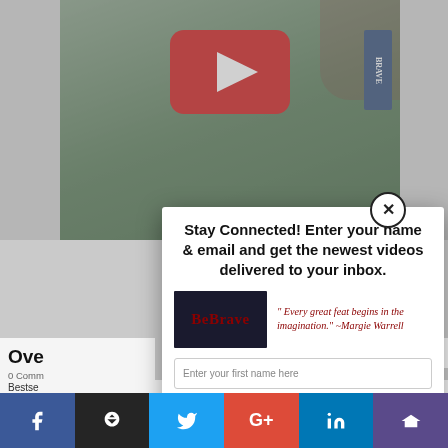[Figure (screenshot): Website screenshot showing a modal popup overlay on a blog page. The modal has a 'Stay Connected' subscription form with name and email fields, a Subscribe Today button, a BeBrave image thumbnail, and a quote by Margie Warrell. Background shows a YouTube video thumbnail and page text about overcoming doubt. Social sharing bar at the bottom with Facebook, Buffer, Twitter, Google+, LinkedIn, and another icon.]
Stay Connected! Enter your name & email and get the newest videos delivered to your inbox.
" Every great feat begins in the imagination." ~Margie Warrell
Enter your first name here
Enter a valid email here
Subscribe Today